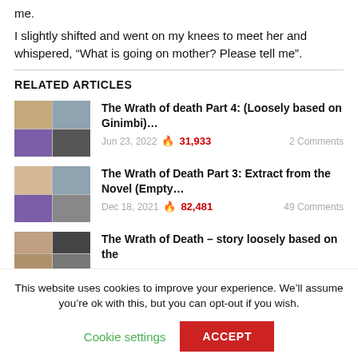me.
I slightly shifted and went on my knees to meet her and whispered, “What is going on mother? Please tell me”.
RELATED ARTICLES
The Wrath of death Part 4: (Loosely based on Ginimbi)… Jun 23, 2022 🔥 31,933 2 Comments
The Wrath of Death Part 3: Extract from the Novel (Empty… Dec 18, 2021 🔥 82,481 49 Comments
The Wrath of Death – story loosely based on the
This website uses cookies to improve your experience. We’ll assume you’re ok with this, but you can opt-out if you wish. Cookie settings ACCEPT